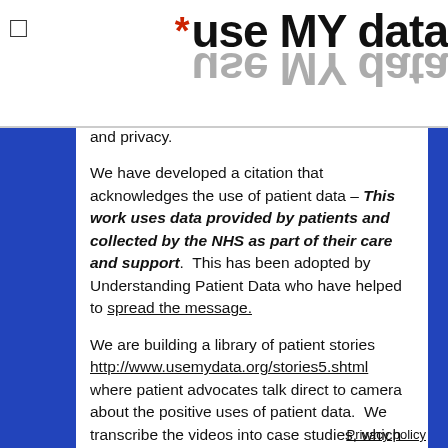use MY data (logo with asterisk)
and privacy.
We have developed a citation that acknowledges the use of patient data – This work uses data provided by patients and collected by the NHS as part of their care and support.  This has been adopted by Understanding Patient Data who have helped to spread the message.
We are building a library of patient stories http://www.usemydata.org/stories5.shtml where patient advocates talk direct to camera about the positive uses of patient data.  We transcribe the videos into case studies, which are available at http://www.usemydata.org/casestudies.shtml
Privacy policy